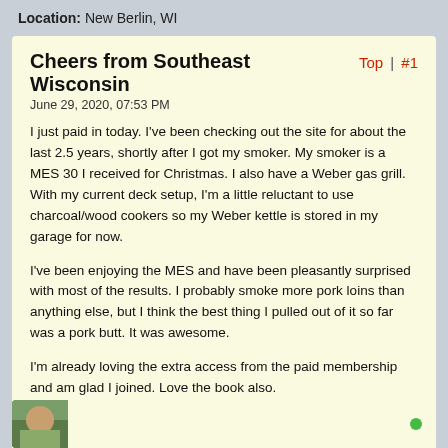Location: New Berlin, WI
Cheers from Southeast Wisconsin
June 29, 2020, 07:53 PM
I just paid in today. I've been checking out the site for about the last 2.5 years, shortly after I got my smoker. My smoker is a MES 30 I received for Christmas. I also have a Weber gas grill. With my current deck setup, I'm a little reluctant to use charcoal/wood cookers so my Weber kettle is stored in my garage for now.
I've been enjoying the MES and have been pleasantly surprised with most of the results. I probably smoke more pork loins than anything else, but I think the best thing I pulled out of it so far was a pork butt. It was awesome.
I'm already loving the extra access from the paid membership and am glad I joined. Love the book also.
Tags: None